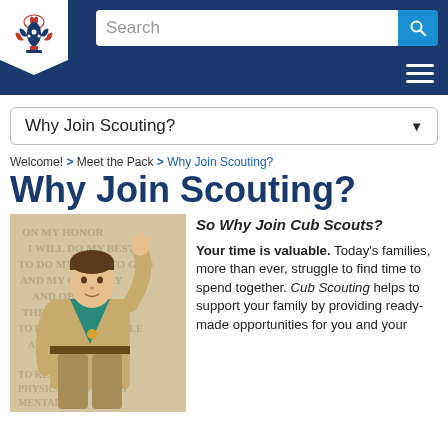[Figure (screenshot): BSA website header with navy blue background, Boy Scout logo (white pennant shape), search bar, and hamburger menu icon]
Why Join Scouting? (dropdown nav)
Welcome! > Meet the Pack > Why Join Scouting?
Why Join Scouting?
[Figure (photo): Classic Norman Rockwell-style painting of a Boy Scout in uniform with teal neckerchief raising his right hand, with Scout oath text in background]
So Why Join Cub Scouts?

Your time is valuable. Today's families, more than ever, struggle to find time to spend together. Cub Scouting helps to support your family by providing ready-made opportunities for you and your